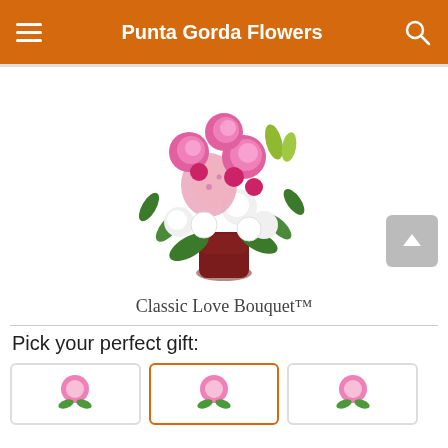Punta Gorda Flowers
[Figure (photo): Classic Love Bouquet floral arrangement with pink roses, stargazer lilies, and white alstroemeria in a dark red vase on a white background]
Classic Love Bouquet™
Pick your perfect gift:
[Figure (photo): Three thumbnail images of flower arrangements at the bottom of the page for selection, middle one highlighted with orange border]